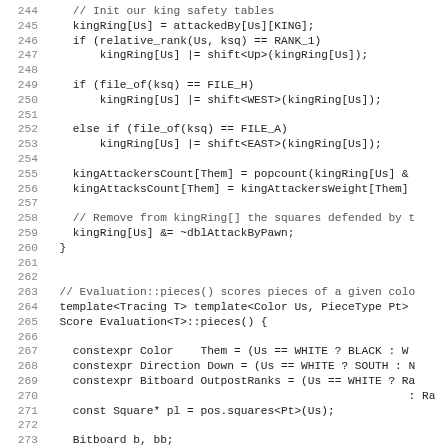Code listing lines 244–275, C++ source code for chess engine evaluation
244    // Init our king safety tables
245    kingRing[Us] = attackedBy[Us][KING];
246    if (relative_rank(Us, ksq) == RANK_1)
247        kingRing[Us] |= shift<Up>(kingRing[Us]);
248
249    if (file_of(ksq) == FILE_H)
250        kingRing[Us] |= shift<WEST>(kingRing[Us]);
251
252    else if (file_of(ksq) == FILE_A)
253        kingRing[Us] |= shift<EAST>(kingRing[Us]);
254
255    kingAttackersCount[Them] = popcount(kingRing[Us] &
256    kingAttacksCount[Them] = kingAttackersWeight[Them]
257
258    // Remove from kingRing[] the squares defended by t
259    kingRing[Us] &= ~dblAttackByPawn;
260  }
261
262
263  // Evaluation::pieces() scores pieces of a given colo
264  template<Tracing T> template<Color Us, PieceType Pt>
265  Score Evaluation<T>::pieces() {
266
267    constexpr Color    Them = (Us == WHITE ? BLACK : W
268    constexpr Direction Down = (Us == WHITE ? SOUTH : N
269    constexpr Bitboard OutpostRanks = (Us == WHITE ? Ra
270                                                      : Ra
271    const Square* pl = pos.squares<Pt>(Us);
272
273    Bitboard b, bb;
274    Score score = SCORE_ZERO;
275